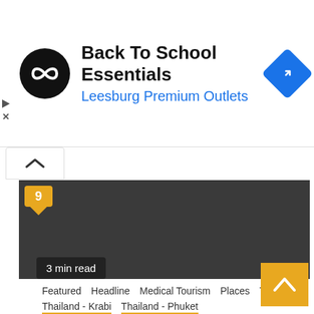[Figure (screenshot): Advertisement banner for Back To School Essentials at Leesburg Premium Outlets with circular black logo containing white infinity/loop symbol, and blue diamond navigation icon on the right]
Back To School Essentials
Leesburg Premium Outlets
[Figure (screenshot): Dark gray panel content area with a notification badge showing number 9 in gold/amber color, a '3 min read' label overlay, and an amber scroll-up button in the bottom right corner]
3 min read
Featured
Headline
Medical Tourism
Places
THAILAND
Thailand - Krabi
Thailand - Phuket